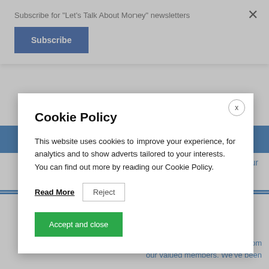Subscribe for "Let's Talk About Money" newsletters
Subscribe
Login
members remain at the heart of our
Cookie Policy
This website uses cookies to improve your experience, for analytics and to show adverts tailored to your interests. You can find out more by reading our Cookie Policy.
Read More
Reject
Accept and close
our services using the feedback from our valued members. We've been